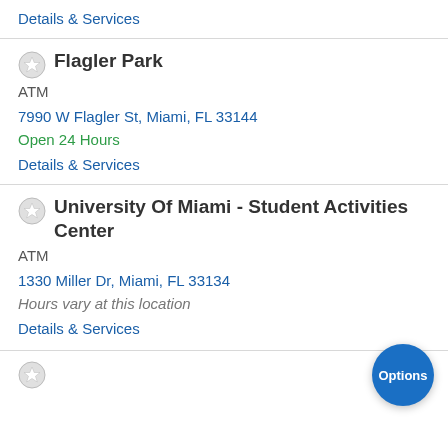Details & Services
Flagler Park
ATM
7990 W Flagler St, Miami, FL 33144
Open 24 Hours
Details & Services
University Of Miami - Student Activities Center
ATM
1330 Miller Dr, Miami, FL 33134
Hours vary at this location
Details & Services